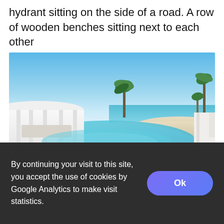hydrant sitting on the side of a road. A row of wooden benches sitting next to each other
[Figure (photo): Panoramic photo of a luxury beach resort with white architectural structures, an infinity pool, palm trees, sandy beach, and blue sky and ocean in the background.]
By continuing your visit to this site, you accept the use of cookies by Google Analytics to make visit statistics.